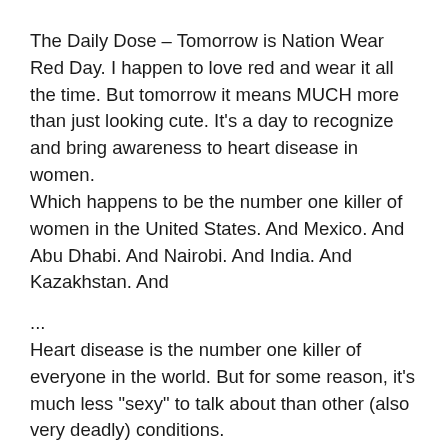The Daily Dose – Tomorrow is Nation Wear Red Day. I happen to love red and wear it all the time. But tomorrow it means MUCH more than just looking cute. It's a day to recognize and bring awareness to heart disease in women.
Which happens to be the number one killer of women in the United States. And Mexico. And Abu Dhabi. And Nairobi. And India. And Kazakhstan. And

...
Heart disease is the number one killer of everyone in the world. But for some reason, it's much less "sexy" to talk about than other (also very deadly) conditions.
So even though you can find a video of me from October talking about how I'm not a fan of the